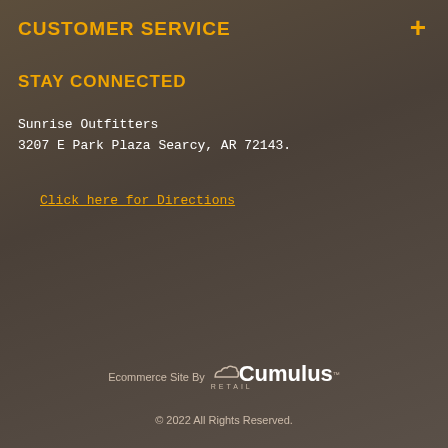CUSTOMER SERVICE
STAY CONNECTED
Sunrise Outfitters
3207 E Park Plaza Searcy, AR 72143.
Click here for Directions
[Figure (other): Social media icons: Facebook, Instagram, Twitter, Google+]
[Figure (logo): Cumulus Retail logo with text 'Ecommerce Site By Cumulus RETAIL']
© 2022 All Rights Reserved.